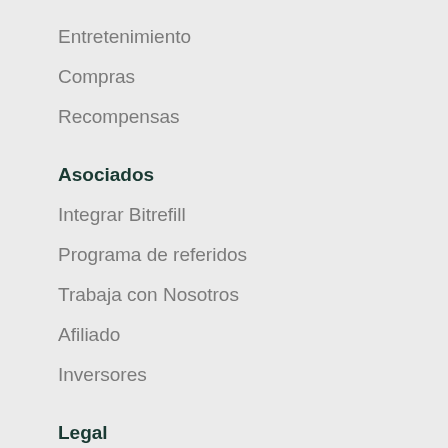Entretenimiento
Compras
Recompensas
Asociados
Integrar Bitrefill
Programa de referidos
Trabaja con Nosotros
Afiliado
Inversores
Legal
Términos y Condiciones
Política de Privacidad